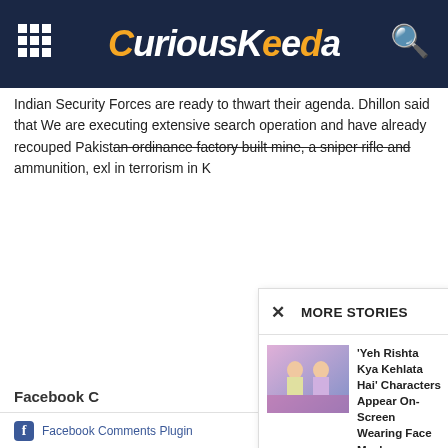CuriousKeeda
Indian Security Forces are ready to thwart their agenda. Dhillon said that We are executing extensive search operation and have already recouped Pakistan ordinance factory built mine, a sniper rifle and ammunition, exl... in terrorism in K...
Facebook C...
0 Comments
Add a comm...
MORE STORIES
'Yeh Rishta Kya Kehlata Hai' Characters Appear On-Screen Wearing Face Mask...
Celebrity   July 15, 2020
Personal Hygiene: 10 Tips for good health care!
Deft   June 12, 2019
Facebook Comments Plugin